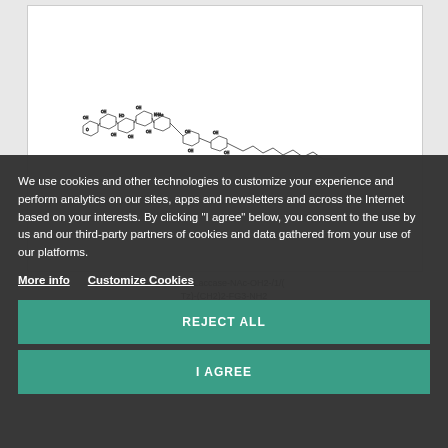[Figure (chemical-structure): Chemical structure diagram of a complex glycolipid molecule (BSEA or similar), shown as a skeletal line drawing with multiple sugar rings and a lipid tail]
BSEA-(Laccase-NAc-OH2-/1/(Tz)-(CH2)2-FG3-NH2
We use cookies and other technologies to customize your experience and perform analytics on our sites, apps and newsletters and across the Internet based on your interests. By clicking "I agree" below, you consent to the use by us and our third-party partners of cookies and data gathered from your use of our platforms.
More info   Customize Cookies
REJECT ALL
I AGREE